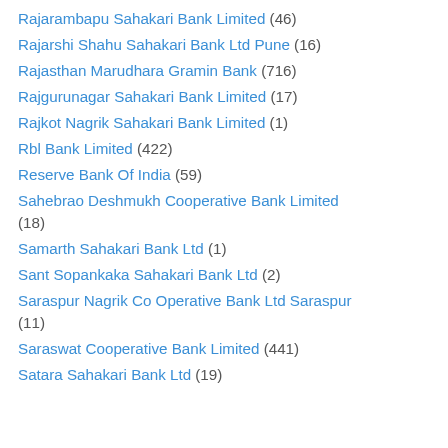Rajarambapu Sahakari Bank Limited (46)
Rajarshi Shahu Sahakari Bank Ltd Pune (16)
Rajasthan Marudhara Gramin Bank (716)
Rajgurunagar Sahakari Bank Limited (17)
Rajkot Nagrik Sahakari Bank Limited (1)
Rbl Bank Limited (422)
Reserve Bank Of India (59)
Sahebrao Deshmukh Cooperative Bank Limited (18)
Samarth Sahakari Bank Ltd (1)
Sant Sopankaka Sahakari Bank Ltd (2)
Saraspur Nagrik Co Operative Bank Ltd Saraspur (11)
Saraswat Cooperative Bank Limited (441)
Satara Sahakari Bank Ltd (19)